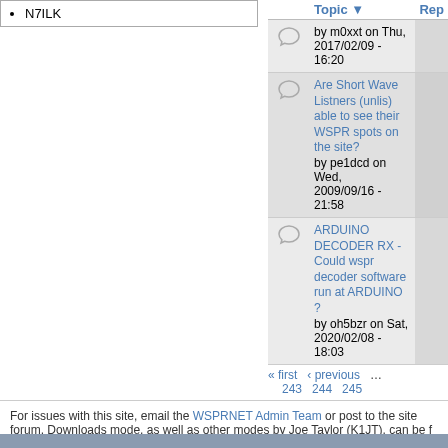N7ILK
|  | Topic | Rep |
| --- | --- | --- |
| [icon] | by m0xxt on Thu, 2017/02/09 - 16:20 |  |
| [icon] | Are Short Wave Listners (unlis) able to see their WSPR spots on the site?
by pe1dcd on Wed, 2009/09/16 - 21:58 |  |
| [icon] | ARDUINO DECODER RX - Could wspr decoder software run at ARDUINO ?
by oh5bzr on Sat, 2020/02/08 - 18:03 |  |
« first  ‹ previous  …
243  244  245
For issues with this site, email the WSPRNET Admin Team or post to the site forum. Downloads mode, as well as other modes by Joe Taylor (K1JT), can be f
RoopleTheme